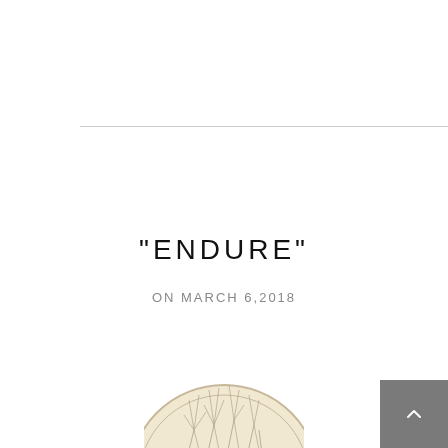“ENDURE”
ON MARCH 6,2018
[Figure (illustration): Circular coin or medallion illustration showing a detailed engraving of trees or branches, partially visible at the bottom of the page]